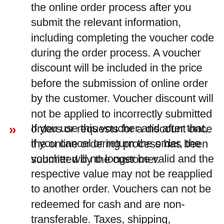the online order process after you submit the relevant information, including completing the voucher code during the order process. A voucher discount will be included in the price before the submission of online order by the customer. Voucher discount will not be applied to incorrectly submitted orders or requests for a discount once the online ordering process has been submitted by the customer.
If you use this voucher and after that, if you cancel or return the order, the voucher will no longer be valid and the respective value may not be reapplied to another order. Vouchers can not be redeemed for cash and are non-transferable. Taxes, shipping, handling, and other fees are extra, vary and these are not included in the discount unless